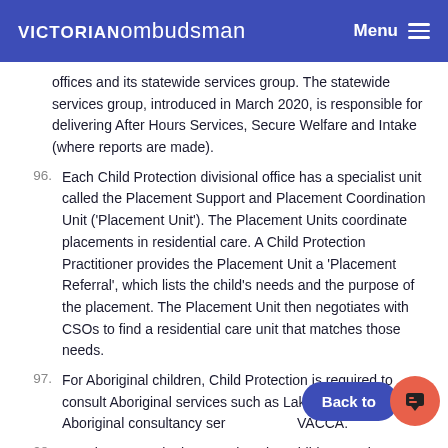VICTORIAN ombudsman   Menu
offices and its statewide services group. The statewide services group, introduced in March 2020, is responsible for delivering After Hours Services, Secure Welfare and Intake (where reports are made).
96. Each Child Protection divisional office has a specialist unit called the Placement Support and Placement Coordination Unit ('Placement Unit'). The Placement Units coordinate placements in residential care. A Child Protection Practitioner provides the Placement Unit a 'Placement Referral', which lists the child's needs and the purpose of the placement. The Placement Unit then negotiates with CSOs to find a residential care unit that matches those needs.
97. For Aboriginal children, Child Protection is required to consult Aboriginal services such as Lakidjeka, a specialist Aboriginal consultancy ser... VACCA.
98. For placements in therapeutic units, Child Protection...